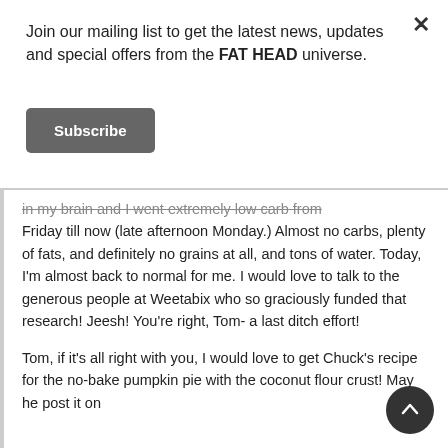Join our mailing list to get the latest news, updates and special offers from the FAT HEAD universe.
Subscribe
in my brain and I went extremely low carb from Friday till now (late afternoon Monday.) Almost no carbs, plenty of fats, and definitely no grains at all, and tons of water. Today, I'm almost back to normal for me. I would love to talk to the generous people at Weetabix who so graciously funded that research! Jeesh! You're right, Tom- a last ditch effort!
Tom, if it's all right with you, I would love to get Chuck's recipe for the no-bake pumpkin pie with the coconut flour crust! May he post it on